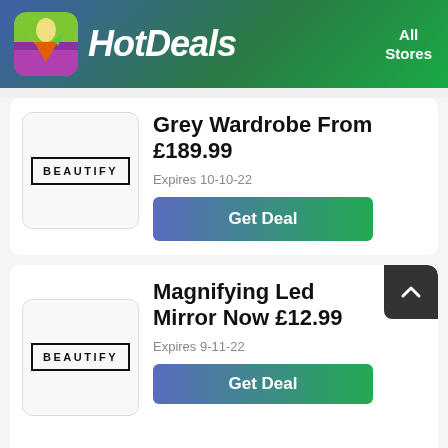HotDeals  All Stores
Grey Wardrobe From £189.99
Expires 10-10-22
Get Deal
Magnifying Led Mirror Now £12.99
Expires 9-11-22
Get Deal